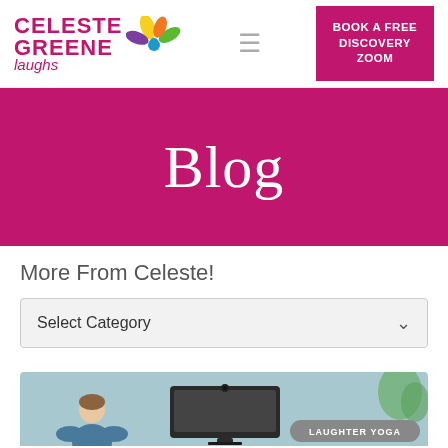[Figure (logo): Celeste Greene Laughs logo with colorful splash/flower graphic]
BOOK A FREE DISCOVERY ZOOM
Blog
More From Celeste!
Select Category
[Figure (photo): Person sitting at a computer/webcam, partially visible. Badge reads LAUGHTER YOGA in gray pill.]